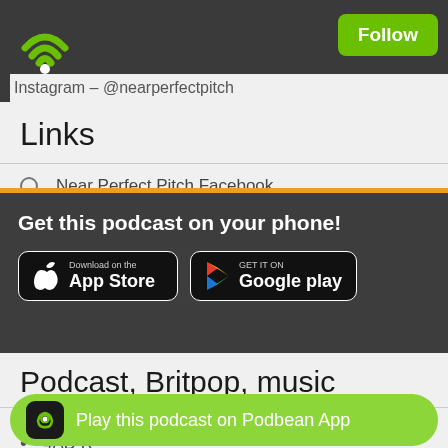Instagram – @nearperfectpitch
Links
Near Perfect Pitch Facebook
Get this podcast on your phone!
[Figure (logo): App Store and Google Play download buttons]
Podcast, Britpop, music
14 Iced Bears
4AD R
Play this podcast on Podbean App